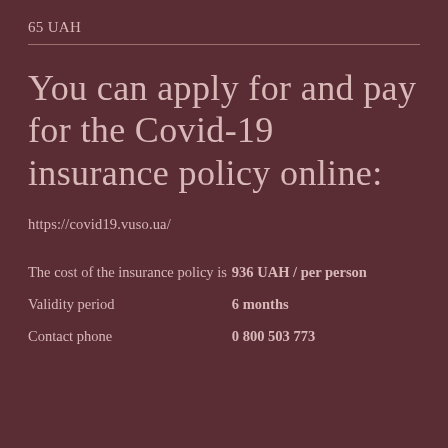65 UAH
You can apply for and pay for the Covid-19 insurance policy online:
https://covid19.vuso.ua/
|  |  |
| --- | --- |
| The cost of the insurance policy is | 936 UAH / per person |
| Validity period | 6 months |
| Contact phone | 0 800 503 773 |